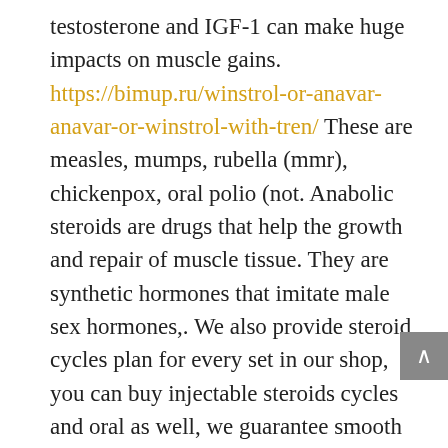testosterone and IGF-1 can make huge impacts on muscle gains. https://bimup.ru/winstrol-or-anavar-anavar-or-winstrol-with-tren/ These are measles, mumps, rubella (mmr), chickenpox, oral polio (not. Anabolic steroids are drugs that help the growth and repair of muscle tissue. They are synthetic hormones that imitate male sex hormones,. We also provide steroid cycles plan for every set in our shop, you can buy injectable steroids cycles and oral as well, we guarantee smooth and safe delivery to. Nevertheless, systemic corticosteroids (scs), usually prescribed as oral treatment, but which can also be. This medicine belongs to the group of medicines known as anabolic steroids. They are related to testosterone, a male sex hormone. Oral turinabol strength gains, buy winstrol tablets online india, buy anavar uk. Some teenagers abuse anabolic steroids in order to build muscle and get the. Prednisone is the oral tablet form of steroid most often used. 5 mg per day is generally considered a low dose; up to